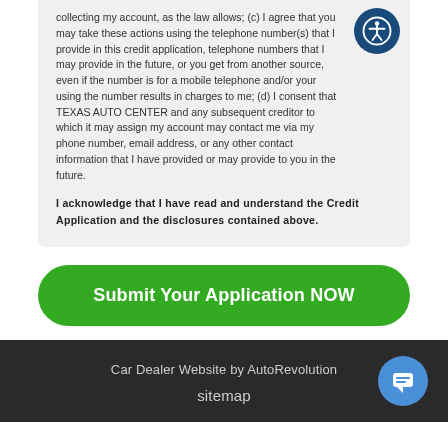collecting my account, as the law allows; (c) I agree that you may take these actions using the telephone number(s) that I provide in this credit application, telephone numbers that I may provide in the future, or you get from another source, even if the number is for a mobile telephone and/or your using the number results in charges to me; (d) I consent that TEXAS AUTO CENTER and any subsequent creditor to which it may assign my account may contact me via my phone number, email address, or any other contact information that I have provided or may provide to you in the future.
I acknowledge that I have read and understand the Credit Application and the disclosures contained above.
Submit Your Application NOW
Car Dealer Website by AutoRevolution
sitemap